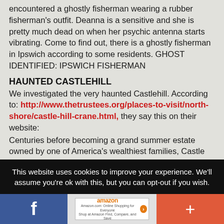encountered a ghostly fisherman wearing a rubber fisherman's outfit. Deanna is a sensitive and she is pretty much dead on when her psychic antenna starts vibrating. Come to find out, there is a ghostly fisherman in Ipswich according to some residents. GHOST IDENTIFIED: IPSWICH FISHERMAN
HAUNTED CASTLEHILL
We investigated the very haunted Castlehill. According to: http://www.thetrustees.org/places-to-visit/north-shore/castle-hill-crane.html, they say this on their website:
Centuries before becoming a grand summer estate owned by one of America's wealthiest families, Castle Hill was well known by Native Americans, who called the area Agawam, referring to its rich fishery. John Winthrop,
This website uses cookies to improve your experience. We'll assume you're ok with this, but you can opt-out if you wish.